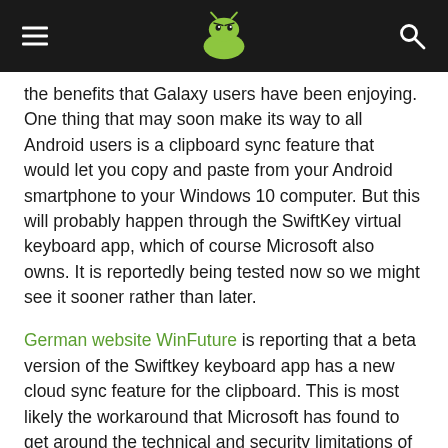[Android Authority logo with hamburger menu and search icon]
the benefits that Galaxy users have been enjoying. One thing that may soon make its way to all Android users is a clipboard sync feature that would let you copy and paste from your Android smartphone to your Windows 10 computer. But this will probably happen through the SwiftKey virtual keyboard app, which of course Microsoft also owns. It is reportedly being tested now so we might see it sooner rather than later.
German website WinFuture is reporting that a beta version of the Swiftkey keyboard app has a new cloud sync feature for the clipboard. This is most likely the workaround that Microsoft has found to get around the technical and security limitations of having such a feature on other Android devices. The integration of a feature like that is only possible with the cooperation and approval of